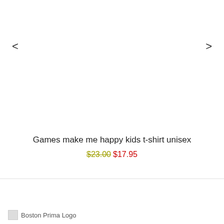<
>
Games make me happy kids t-shirt unisex
$23.00 $17.95
[Figure (logo): Boston Prima Logo placeholder image]
Boston Prima Logo